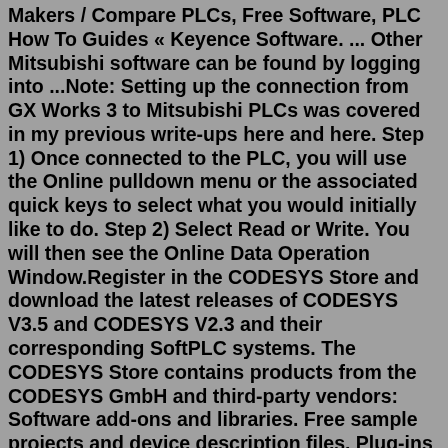Makers / Compare PLCs, Free Software, PLC How To Guides « Keyence Software. ... Other Mitsubishi software can be found by logging into ...Note: Setting up the connection from GX Works 3 to Mitsubishi PLCs was covered in my previous write-ups here and here. Step 1) Once connected to the PLC, you will use the Online pulldown menu or the associated quick keys to select what you would initially like to do. Step 2) Select Read or Write. You will then see the Online Data Operation Window.Register in the CODESYS Store and download the latest releases of CODESYS V3.5 and CODESYS V2.3 and their corresponding SoftPLC systems. The CODESYS Store contains products from the CODESYS GmbH and third-party vendors: Software add-ons and libraries. Free sample projects and device description files. Plug-ins for all kinds of use cases and ...FX PLC & GOT1000 Pure Control: 2009-10: Safety Programmable Controller/Safety Controller/Safety Relay Module MELSEC Safety: 2013-01: Mitsubishi Safety Controller Application Guide: 2010-11: Open Field